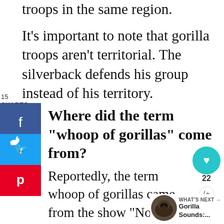troops in the same region.
It's important to note that gorilla troops aren't territorial. The silverback defends his group instead of his territory.
15
SHARES
Where did the term “whoop of gorillas” come from?
Reportedly, the term whoop of gorillas came from the show “Not the Nine O’Clock News”. It originated in the famous “Gerald the Gorilla” skit with Rowan Atkinson in a gorilla suit.
[Figure (infographic): Social share sidebar with Facebook (blue), Twitter (light blue), Pinterest (red) buttons on the left side]
[Figure (infographic): Right side action buttons: teal heart button with count 22, and a share button]
[Figure (infographic): What's Next widget with gorilla thumbnail image and text 'Gorilla Sounds:...']